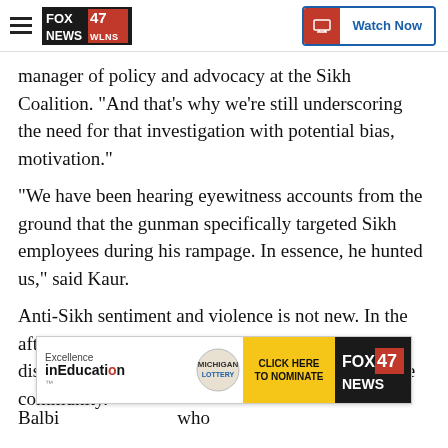FOX 47 NEWS | Watch Now
manager of policy and advocacy at the Sikh Coalition. “And that’s why we’re still underscoring the need for that investigation with potential bias, motivation.”
“We have been hearing eyewitness accounts from the ground that the gunman specifically targeted Sikh employees during his rampage. In essence, he hunted us,” said Kaur.
Anti-Sikh sentiment and violence is not new. In the aftermath of 9/11, more than 700 attacks and discriminatory harassment were reported against the community.
[Figure (screenshot): Advertisement banner: Excellence in Education with lottery logo, CLICK HERE TO NOMINATE button, and FOX 47 NEWS logo]
Balbi... who